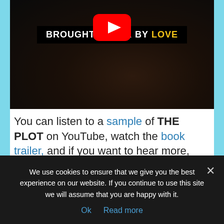[Figure (screenshot): YouTube video thumbnail showing a dark background with lace fabric. A YouTube play button (red with white triangle) is overlaid in the center. A black banner reads 'BROUGHT TO YOU BY LOVE' with 'LOVE' in yellow text.]
You can listen to a sample of THE PLOT on YouTube, watch the book trailer, and if you want to hear more, you can find THE PLOT on Amazon as well as on all major audiobook distribution channels. Enjoy!
Fondly,
We use cookies to ensure that we give you the best experience on our website. If you continue to use this site we will assume that you are happy with it.